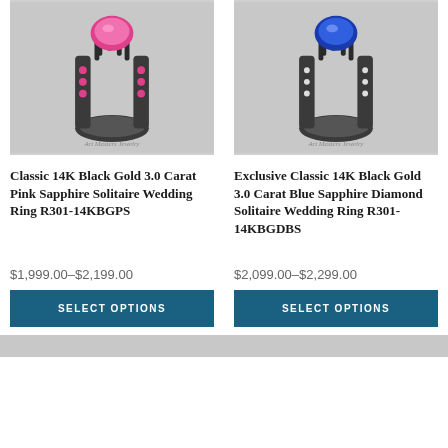[Figure (photo): Photo of a Classic 14K Black Gold 3.0 Carat Pink Sapphire Solitaire Wedding Ring on gray background, watermarked Art Masters Jewelry]
[Figure (photo): Photo of an Exclusive Classic 14K Black Gold 3.0 Carat Blue Sapphire Diamond Solitaire Wedding Ring on gray background, watermarked Art Masters Jewelry]
Classic 14K Black Gold 3.0 Carat Pink Sapphire Solitaire Wedding Ring R301-14KBGPS
Exclusive Classic 14K Black Gold 3.0 Carat Blue Sapphire Diamond Solitaire Wedding Ring R301-14KBGDBS
$1,999.00–$2,199.00
$2,099.00–$2,299.00
SELECT OPTIONS
SELECT OPTIONS